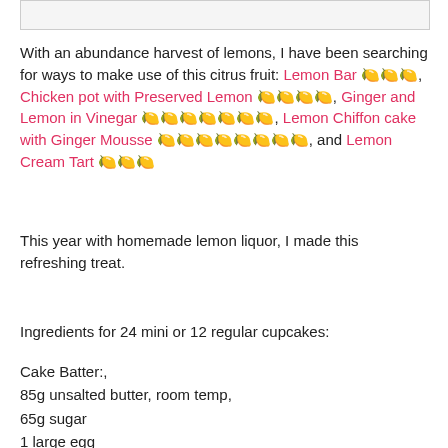[Figure (photo): Image placeholder at top of page]
With an abundance harvest of lemons, I have been searching for ways to make use of this citrus fruit: Lemon Bar 🍋🍋🍋, Chicken pot with Preserved Lemon 🍋🍋🍋🍋, Ginger and Lemon in Vinegar 🍋🍋🍋🍋🍋🍋🍋, Lemon Chiffon cake with Ginger Mousse 🍋🍋🍋🍋🍋🍋🍋🍋, and Lemon Cream Tart 🍋🍋🍋
This year with homemade lemon liquor, I made this refreshing treat.
Ingredients for 24 mini or 12 regular cupcakes:
Cake Batter:,
85g unsalted butter, room temp,
65g sugar
1 large egg
162g all purpose flour